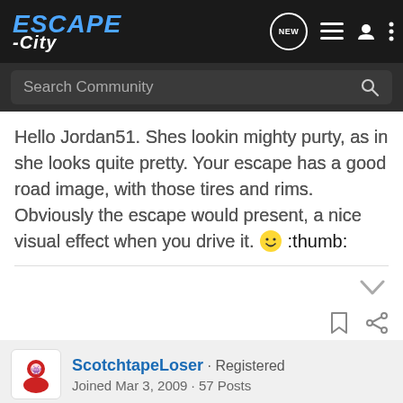ESCAPE -City [nav bar with NEW badge, list icon, user icon, menu icon]
Search Community
Hello Jordan51. Shes lookin mighty purty, as in she looks quite pretty. Your escape has a good road image, with those tires and rims. Obviously the escape would present, a nice visual effect when you drive it. 🙂 :thumb:
ScotchtapeLoser · Registered
Joined Mar 3, 2009 · 57 Posts
#11 · Ma...
[Figure (screenshot): Nitto ALL-NEW NOMAD GRAPPLER CROSSOVER-TERRAIN TIRE advertisement banner]